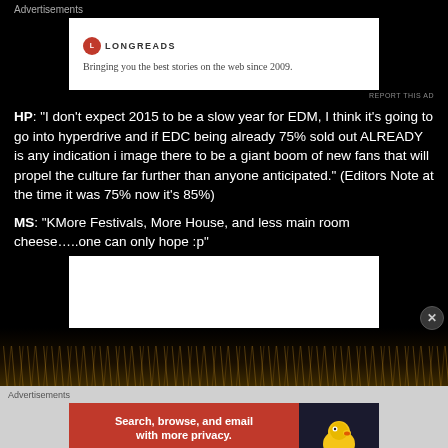Advertisements
[Figure (screenshot): Longreads advertisement: logo and tagline 'Bringing you the best stories on the web since 2009.']
REPORT THIS AD
HP: “I don’t expect 2015 to be a slow year for EDM, I think it’s going to go into hyperdrive and if EDC being already 75% sold out ALREADY is any indication i image there to be a giant boom of new fans that will propel the culture far further than anyone anticipated.” (Editors Note at the time it was 75% now it’s 85%)
MS: “KMore Festivals, More House, and less main room cheese…..one can only hope :p”
[Figure (screenshot): Blank white advertisement box]
[Figure (photo): Fireworks photo - dark background with golden fireworks]
Advertisements
[Figure (screenshot): DuckDuckGo advertisement: Search, browse, and email with more privacy. All in One Free App. DuckDuckGo logo.]
REPORT THIS AD